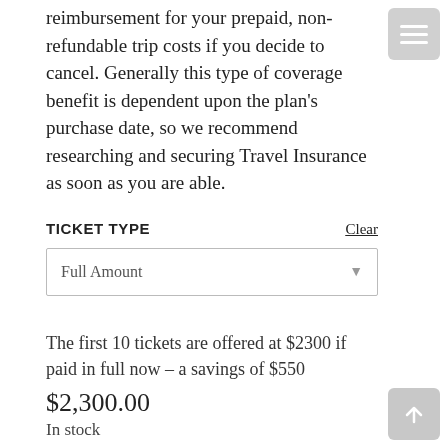reimbursement for your prepaid, non-refundable trip costs if you decide to cancel. Generally this type of coverage benefit is dependent upon the plan's purchase date, so we recommend researching and securing Travel Insurance as soon as you are able.
TICKET TYPE
Clear
Full Amount
The first 10 tickets are offered at $2300 if paid in full now – a savings of $550
$2,300.00
In stock